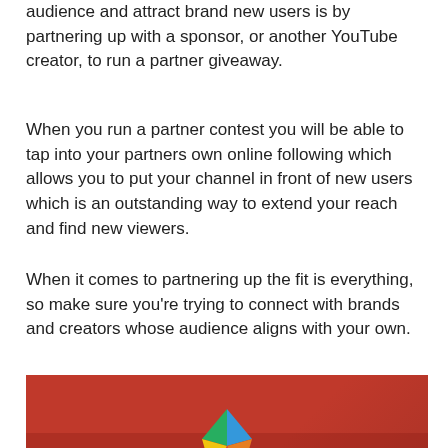audience and attract brand new users is by partnering up with a sponsor, or another YouTube creator, to run a partner giveaway.
When you run a partner contest you will be able to tap into your partners own online following which allows you to put your channel in front of new users which is an outstanding way to extend your reach and find new viewers.
When it comes to partnering up the fit is everything, so make sure you're trying to connect with brands and creators whose audience aligns with your own.
[Figure (photo): A red-tinted group photo of people with a colorful geometric kite/diamond logo in the center foreground.]